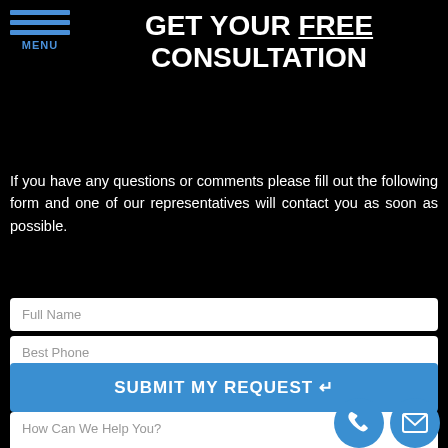MENU
GET YOUR FREE CONSULTATION
If you have any questions or comments please fill out the following form and one of our representatives will contact you as soon as possible.
Full Name
Best Phone
Email Address
How Can We Help You?
SUBMIT MY REQUEST